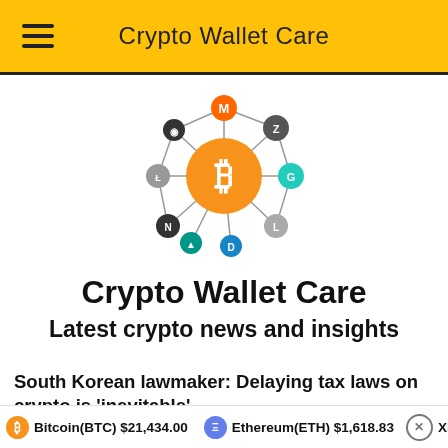Crypto Wallet Care
[Figure (logo): Cryptocurrency network logo with Bitcoin in the center surrounded by various crypto coin icons connected by lines]
Crypto Wallet Care
Latest crypto news and insights
South Korean lawmaker: Delaying tax laws on crypto is 'inevitable'
Bitcoin(BTC) $21,434.00   Ethereum(ETH) $1,618.83   XR